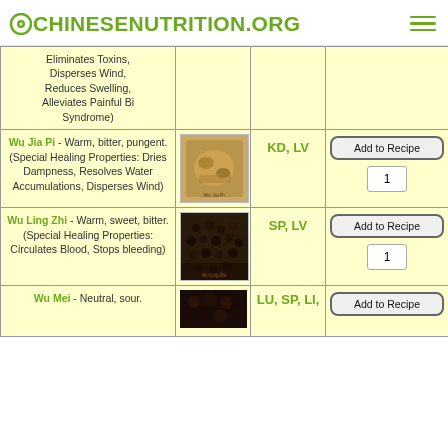OCHINESENUTRITION.ORG
| Herb | Image | Meridians | Action |
| --- | --- | --- | --- |
| (Eliminates Toxins, Disperses Wind, Reduces Swelling, Alleviates Painful Bi Syndrome) |  |  |  |
| Wu Jia Pi - Warm, bitter, pungent. (Special Healing Properties: Dries Dampness, Resolves Water Accumulations, Disperses Wind) | [image] | KD, LV | Add to Recipe / 1 |
| Wu Ling Zhi - Warm, sweet, bitter. (Special Healing Properties: Circulates Blood, Stops bleeding) | [image] | SP, LV | Add to Recipe / 1 |
| Wu Mei - Neutral, sour. | [image] | LU, SP, LI, | Add to Recipe |